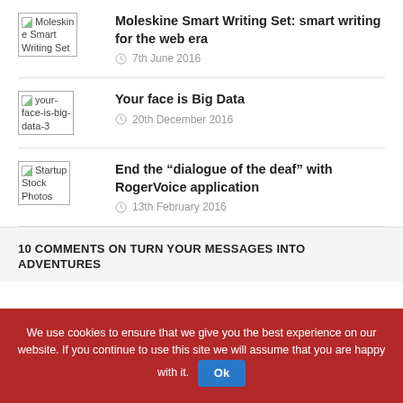Moleskine Smart Writing Set: smart writing for the web era — 7th June 2016
Your face is Big Data — 20th December 2016
End the “dialogue of the deaf” with RogerVoice application — 13th February 2016
10 COMMENTS ON TURN YOUR MESSAGES INTO ADVENTURES
We use cookies to ensure that we give you the best experience on our website. If you continue to use this site we will assume that you are happy with it. Ok